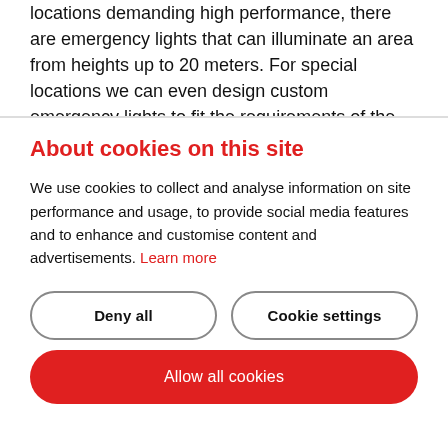locations demanding high performance, there are emergency lights that can illuminate an area from heights up to 20 meters. For special locations we can even design custom emergency lights to fit the requirements of the location perfectly.
About cookies on this site
We use cookies to collect and analyse information on site performance and usage, to provide social media features and to enhance and customise content and advertisements. Learn more
Deny all
Cookie settings
Allow all cookies